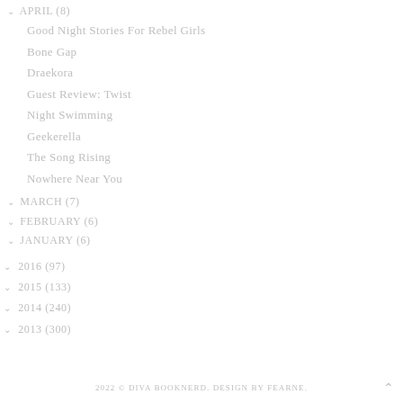APRIL (8)
Good Night Stories For Rebel Girls
Bone Gap
Draekora
Guest Review: Twist
Night Swimming
Geekerella
The Song Rising
Nowhere Near You
MARCH (7)
FEBRUARY (6)
JANUARY (6)
2016 (97)
2015 (133)
2014 (240)
2013 (300)
2022 © DIVA BOOKNERD. DESIGN BY FEARNE.